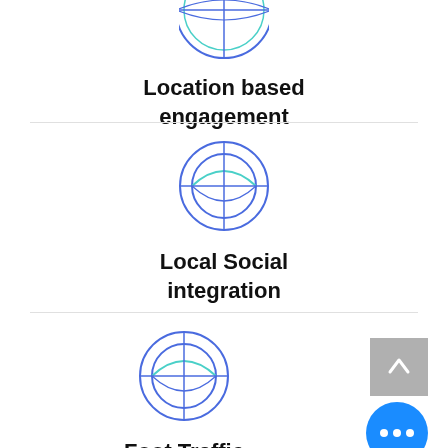[Figure (illustration): Globe/crosshair icon for Location based engagement (partially visible at top)]
Location based engagement
[Figure (illustration): Globe/crosshair icon for Local Social integration]
Local Social integration
[Figure (illustration): Globe/crosshair icon for Foot Traffic Conversion]
Foot Traffic Conversion